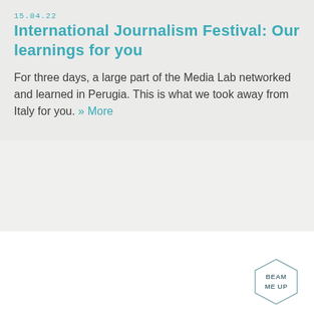15.04.22
International Journalism Festival: Our learnings for you
For three days, a large part of the Media Lab networked and learned in Perugia. This is what we took away from Italy for you. » More
[Figure (logo): Hexagonal badge with text BEAM ME UP]